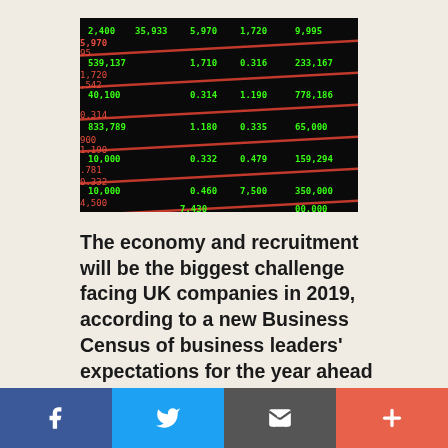[Figure (photo): Stock market ticker board with green and red numbers on black background showing various stock prices and values]
The economy and recruitment will be the biggest challenge facing UK companies in 2019, according to a new Business Census of business leaders' expectations for the year ahead conducted by global credit company Creditsafe.